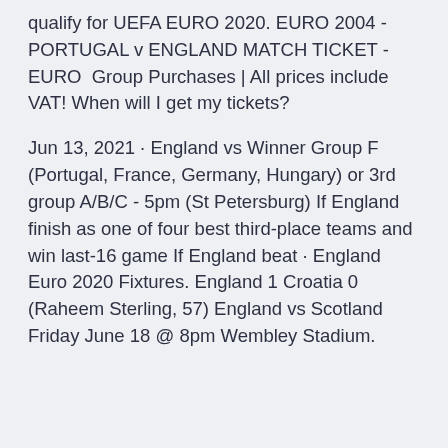qualify for UEFA EURO 2020. EURO 2004 - PORTUGAL v ENGLAND MATCH TICKET - EURO  Group Purchases | All prices include VAT! When will I get my tickets?
Jun 13, 2021 · England vs Winner Group F (Portugal, France, Germany, Hungary) or 3rd group A/B/C - 5pm (St Petersburg) If England finish as one of four best third-place teams and win last-16 game If England beat · England Euro 2020 Fixtures. England 1 Croatia 0 (Raheem Sterling, 57) England vs Scotland Friday June 18 @ 8pm Wembley Stadium.